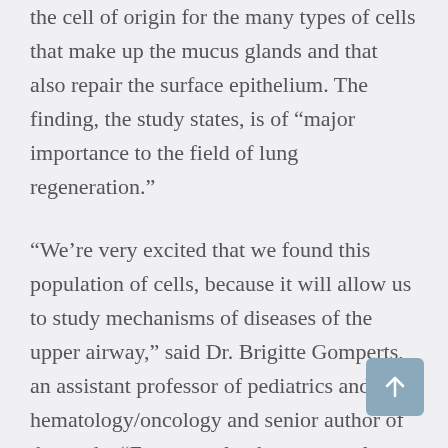the cell of origin for the many types of cells that make up the mucus glands and that also repair the surface epithelium. The finding, the study states, is of “major importance to the field of lung regeneration.”
“We’re very excited that we found this population of cells, because it will allow us to study mechanisms of diseases of the upper airway,” said Dr. Brigitte Gomperts, an assistant professor of pediatrics and hematology/oncology and senior author of the study. “For example, there currently are no treatments for excess mucus production, which we see in cystic fibrosis, asthma and chronic obstructive pulmonary disease (COPD). But if we can